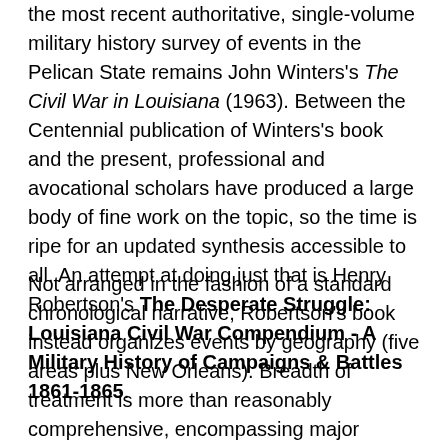the most recent authoritative, single-volume military history survey of events in the Pelican State remains John Winters's The Civil War in Louisiana (1963). Between the Centennial publication of Winters's book and the present, professional and avocational scholars have produced a large body of fine work on the topic, so the time is ripe for an updated synthesis accessible to all. An attempt at doing just that is Henry Robertson's The Desperate Struggle: Louisiana Civil War Compendium - A Military History of Campaigns & Battles 1861-1865.
Not arranged in the fashion of a standard chronological narrative, Robertson's book instead organizes events by geography (five areas plus New Orleans). Breadth of treatment is more than reasonably comprehensive, encompassing major operations (ex. the New Orleans Campaign, Bayou Teche, Vicksburg Campaign, Texas Overland Expedition, and Red River) along with a host of smaller actions. The volume is not a guidebook in the sense of providing automobile touring routes and stops, but the geographical sections are accompanied by author-recommended site lists with current contact/location information and opening hours, as well as a list of original